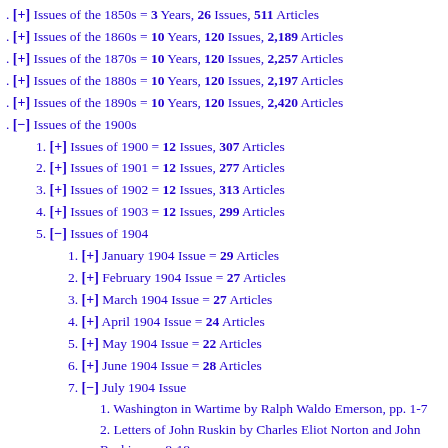. [+] Issues of the 1850s = 3 Years, 26 Issues, 511 Articles
. [+] Issues of the 1860s = 10 Years, 120 Issues, 2,189 Articles
. [+] Issues of the 1870s = 10 Years, 120 Issues, 2,257 Articles
. [+] Issues of the 1880s = 10 Years, 120 Issues, 2,197 Articles
. [+] Issues of the 1890s = 10 Years, 120 Issues, 2,420 Articles
. [-] Issues of the 1900s
1. [+] Issues of 1900 = 12 Issues, 307 Articles
2. [+] Issues of 1901 = 12 Issues, 277 Articles
3. [+] Issues of 1902 = 12 Issues, 313 Articles
4. [+] Issues of 1903 = 12 Issues, 299 Articles
5. [-] Issues of 1904
1. [+] January 1904 Issue = 29 Articles
2. [+] February 1904 Issue = 27 Articles
3. [+] March 1904 Issue = 27 Articles
4. [+] April 1904 Issue = 24 Articles
5. [+] May 1904 Issue = 22 Articles
6. [+] June 1904 Issue = 28 Articles
7. [-] July 1904 Issue
1. Washington in Wartime by Ralph Waldo Emerson, pp. 1-7
2. Letters of John Ruskin by Charles Eliot Norton and John Ruskin, pp. 8-18